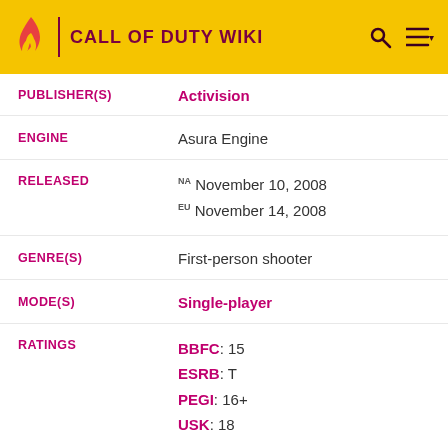CALL OF DUTY WIKI
| Field | Value |
| --- | --- |
| PUBLISHER(S) | Activision |
| ENGINE | Asura Engine |
| RELEASED | NA November 10, 2008 / EU November 14, 2008 |
| GENRE(S) | First-person shooter |
| MODE(S) | Single-player |
| RATINGS | BBFC: 15 / ESRB: T / PEGI: 16+ / USK: 18 |
| PLATFORMS | PlayStation 2 |